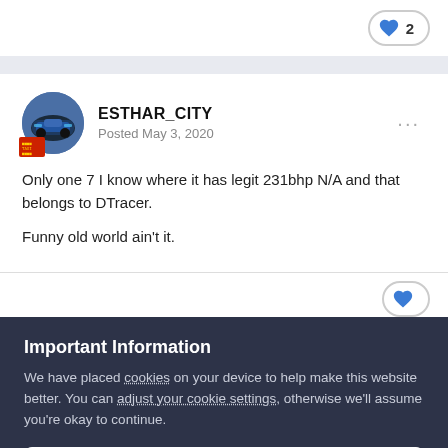[Figure (other): Like button with heart icon showing count of 2]
[Figure (photo): User avatar showing a blue sports car, with a red pixel art badge overlay. Username: ESTHAR_CITY, Posted May 3, 2020]
Only one 7 I know where it has legit 231bhp N/A and that belongs to DTracer.
Funny old world ain't it.
Important Information
We have placed cookies on your device to help make this website better. You can adjust your cookie settings, otherwise we'll assume you're okay to continue.
I accept